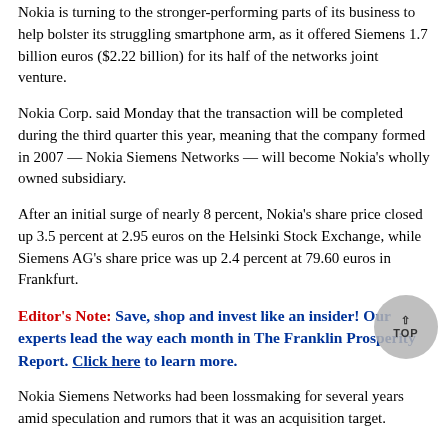Nokia is turning to the stronger-performing parts of its business to help bolster its struggling smartphone arm, as it offered Siemens 1.7 billion euros ($2.22 billion) for its half of the networks joint venture.
Nokia Corp. said Monday that the transaction will be completed during the third quarter this year, meaning that the company formed in 2007 — Nokia Siemens Networks — will become Nokia's wholly owned subsidiary.
After an initial surge of nearly 8 percent, Nokia's share price closed up 3.5 percent at 2.95 euros on the Helsinki Stock Exchange, while Siemens AG's share price was up 2.4 percent at 79.60 euros in Frankfurt.
Editor's Note: Save, shop and invest like an insider! Our experts lead the way each month in The Franklin Prosperity Report. Click here to learn more.
Nokia Siemens Networks had been lossmaking for several years amid speculation and rumors that it was an acquisition target.